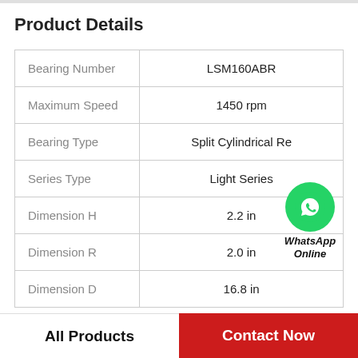Product Details
| Bearing Number | LSM160ABR |
| Maximum Speed | 1450 rpm |
| Bearing Type | Split Cylindrical Re |
| Series Type | Light Series |
| Dimension H | 2.2 in |
| Dimension R | 2.0 in |
| Dimension D | 16.8 in |
[Figure (logo): WhatsApp Online button — green circle with phone handset icon, bold italic text 'WhatsApp Online']
All Products
Contact Now